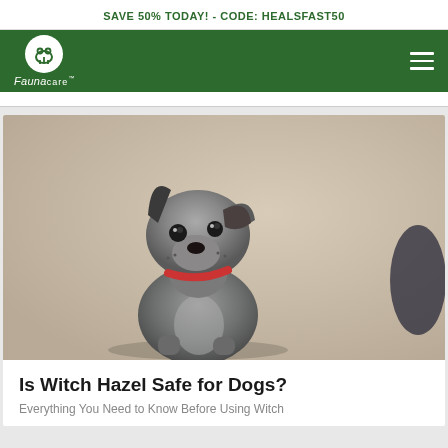SAVE 50% TODAY! - CODE: HEALSFAST50
[Figure (logo): FaunaCare logo: white circle with dog icon above italic 'Faunacare' text on green navigation bar]
[Figure (photo): Close-up photo of a grey Italian Greyhound puppy with a red collar, tilting its head, looking at the camera against a light background]
Is Witch Hazel Safe for Dogs?
Everything You Need to Know Before Using Witch